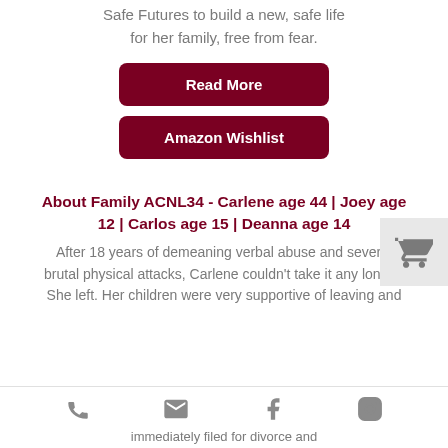Safe Futures to build a new, safe life for her family, free from fear.
Read More
Amazon Wishlist
About Family ACNL34 - Carlene age 44 | Joey age 12 | Carlos age 15 | Deanna age 14
After 18 years of demeaning verbal abuse and several brutal physical attacks, Carlene couldn't take it any longer. She left. Her children were very supportive of leaving and immediately filed for divorce and
phone | email | facebook | instagram